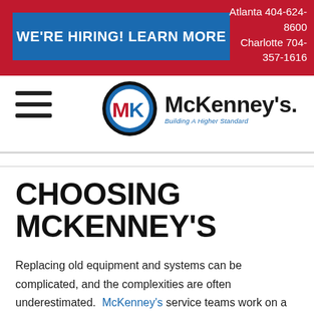Atlanta 404-624-8600 Charlotte 704-357-1616
WE'RE HIRING! LEARN MORE
[Figure (logo): McKenney's Inc. logo — circular badge with MK initials in blue and red, with text 'McKenney's' and tagline 'Building A Higher Standard']
CHOOSING MCKENNEY'S
Replacing old equipment and systems can be complicated, and the complexities are often underestimated. McKenney's service teams work on a wide range of systems including chillers, air handlers, rooftop units, boilers, pumps and heat pumps, central station fans and systems, remote condensing